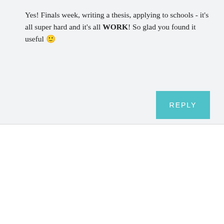Yes! Finals week, writing a thesis, applying to schools - it's all super hard and it's all WORK! So glad you found it useful 🙂
REPLY
Mary
November 20th, 2015
#2 — not a smile file, but when things get a little tough or I'm in doubt, I go and read my Yelp reviews. Most are glowing, and it always helps me feel a bit better after!